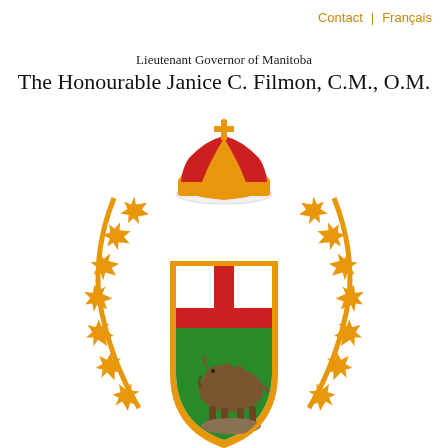Contact | Français
Lieutenant Governor of Manitoba
The Honourable Janice C. Filmon, C.M., O.M.
[Figure (illustration): Manitoba Lieutenant Governor coat of arms: a shield with St. George's cross (red cross on white) in the upper half and a green field with a bison on a rock in the lower half, topped by a golden royal crown with red velvet, surrounded by a wreath of golden maple leaves on golden branches arranged in a circular pattern.]